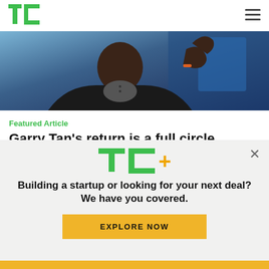TechCrunch logo and navigation
[Figure (photo): Photo of a person (Garry Tan) gesturing with hand raised, wearing a dark jacket over grey top, with blue stage lighting in the background]
Featured Article
Garry Tan's return is a full circle moment for Y Combinator
Natasha Mascarenhas
8:18 PM UTC • August 29, 2022
[Figure (logo): TC+ logo (TechCrunch Plus) in green and orange text]
Building a startup or looking for your next deal? We have you covered.
EXPLORE NOW